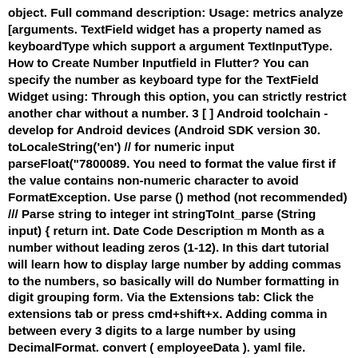object. Full command description: Usage: metrics analyze [arguments. TextField widget has a property named as keyboardType which support a argument TextInputType. How to Create Number Inputfield in Flutter? You can specify the number as keyboard type for the TextField Widget using: Through this option, you can strictly restrict another char without a number. 3 [ ] Android toolchain - develop for Android devices (Android SDK version 30. toLocaleString('en') // for numeric input parseFloat("7800089. You need to format the value first if the value contains non-numeric character to avoid FormatException. Use parse () method (not recommended) /// Parse string to integer int stringToInt_parse (String input) { return int. Date Code Description m Month as a number without leading zeros (1-12). In this dart tutorial will learn how to display large number by adding commas to the numbers, so basically will do Number formatting in digit grouping form. Via the Extensions tab: Click the extensions tab or press cmd+shift+x. Adding comma in between every 3 digits to a large number by using DecimalFormat. convert ( employeeData ). yaml file. Sometimes we have to work with string in radix number format. end – Place the children as close to the end of the main axis as possible. NumberFormat object. Press cmd+p to open the Quick Open dialog. Step 1: Install it. replace(/\B(?=(\d{3})+(?!\d))/g, Oldest first. A number format pattern can consist of